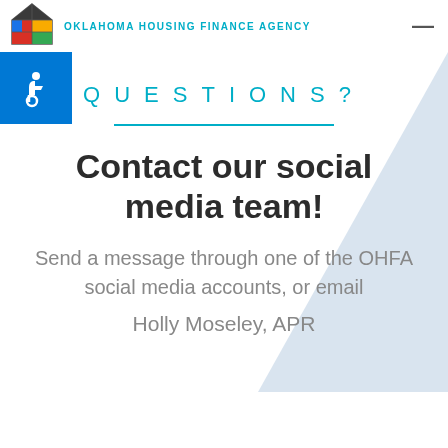OKLAHOMA HOUSING FINANCE AGENCY
[Figure (logo): Oklahoma Housing Finance Agency house logo with colorful panels]
[Figure (illustration): Blue accessibility wheelchair icon on dark blue square background]
QUESTIONS?
Contact our social media team!
Send a message through one of the OHFA social media accounts, or email
Holly Moseley, APR